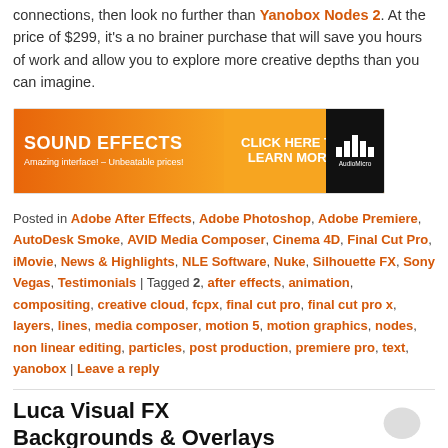connections, then look no further than Yanobox Nodes 2. At the price of $299, it's a no brainer purchase that will save you hours of work and allow you to explore more creative depths than you can imagine.
[Figure (infographic): Sound Effects advertisement banner with orange background. Left: 'SOUND EFFECTS / Amazing interface! – Unbeatable prices!'. Middle: 'CLICK HERE TO LEARN MORE'. Right: AudioMicro logo (bars) on black background.]
Posted in Adobe After Effects, Adobe Photoshop, Adobe Premiere, AutoDesk Smoke, AVID Media Composer, Cinema 4D, Final Cut Pro, iMovie, News & Highlights, NLE Software, Nuke, Silhouette FX, Sony Vegas, Testimonials | Tagged 2, after effects, animation, compositing, creative cloud, fcpx, final cut pro, final cut pro x, layers, lines, media composer, motion 5, motion graphics, nodes, non linear editing, particles, post production, premiere pro, text, yanobox | Leave a reply
Luca Visual FX Backgrounds & Overlays